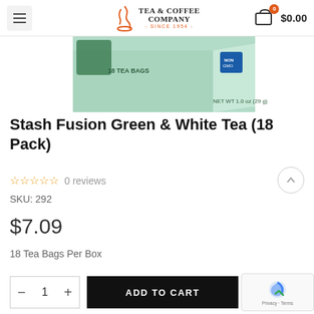Tea & Coffee Company - Since 1954 - $0.00
[Figure (photo): Partial image of Stash Fusion Green & White Tea box showing '18 Tea Bags' and 'NET WT 1.0 oz (29 g)' on a mint green background]
Stash Fusion Green & White Tea (18 Pack)
0 reviews
SKU: 292
$7.09
18 Tea Bags Per Box
ADD TO CART